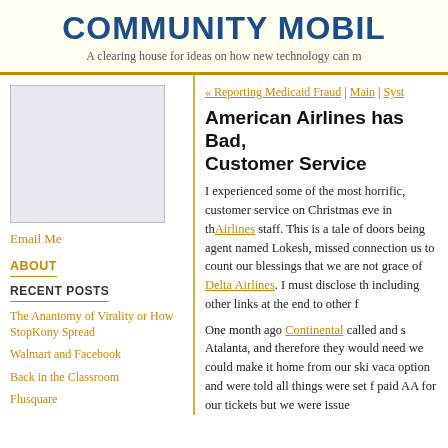COMMUNITY MOBIL
A clearing house for ideas on how new technology can m
[Figure (photo): Placeholder image box in left sidebar]
Email Me
ABOUT
RECENT POSTS
The Anantomy of Virality or How StopKony Spread
Walmart and Facebook
Back in the Classroom
Flusquare
« Reporting Medicaid Fraud | Main | Syst
American Airlines has Bad, Customer Service
I experienced some of the most horrific, customer service on Christmas eve in the Airlines staff. This is a tale of doors being agent named Lokesh, missed connection us to count our blessings that we are not grace of Delta Airlines. I must disclose th including other links at the end to other f
One month ago Continental called and s Atalanta, and therefore they would need we could make it home from our ski vaca option and were told all things were set f paid AA for our tickets but we were issue